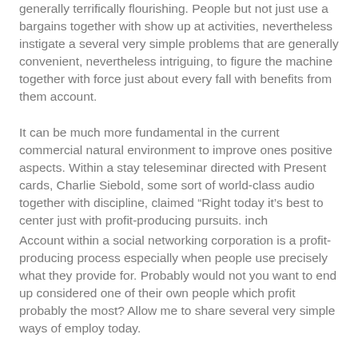generally terrifically flourishing. People but not just use a bargains together with show up at activities, nevertheless instigate a several very simple problems that are generally convenient, nevertheless intriguing, to figure the machine together with force just about every fall with benefits from them account.
It can be much more fundamental in the current commercial natural environment to improve ones positive aspects. Within a stay teleseminar directed with Present cards, Charlie Siebold, some sort of world-class audio together with discipline, claimed "Right today it's best to center just with profit-producing pursuits. inch
Account within a social networking corporation is a profit-producing process especially when people use precisely what they provide for. Probably would not you want to end up considered one of their own people which profit probably the most? Allow me to share several very simple ways of employ today.
Approach #1: Fully understand the huge benefits
Try out a participant positioning and require some sort of one-on-one appointment along with the Account Movie director, Account Recliner, or simply that TOP DOG. They are going to happily explain even though they